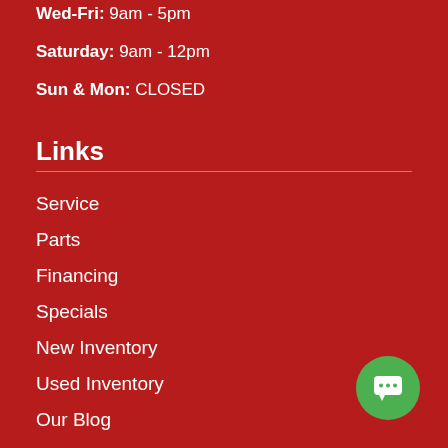Wed-Fri: 9am - 5pm
Saturday: 9am - 12pm
Sun & Mon: CLOSED
Links
Service
Parts
Financing
Specials
New Inventory
Used Inventory
Our Blog